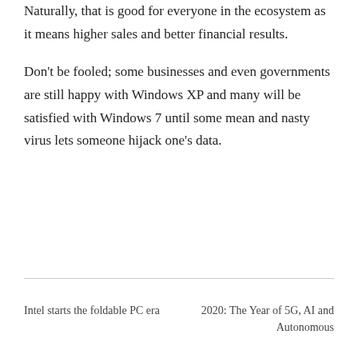Naturally, that is good for everyone in the ecosystem as it means higher sales and better financial results.
Don't be fooled; some businesses and even governments are still happy with Windows XP and many will be satisfied with Windows 7 until some mean and nasty virus lets someone hijack one's data.
Intel starts the foldable PC era     2020: The Year of 5G, AI and Autonomous